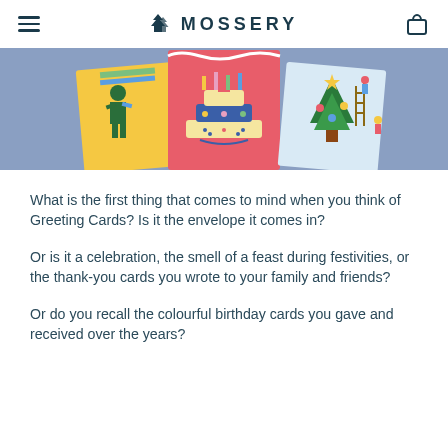MOSSERY
[Figure (illustration): Hero banner with blue-grey background showing three greeting cards fanned out: left card with yellow background showing a person figure, center card with red/pink background showing a layered birthday cake, right card with light blue background showing figures decorating a Christmas tree.]
What is the first thing that comes to mind when you think of Greeting Cards? Is it the envelope it comes in?
Or is it a celebration, the smell of a feast during festivities, or the thank-you cards you wrote to your family and friends?
Or do you recall the colourful birthday cards you gave and received over the years?